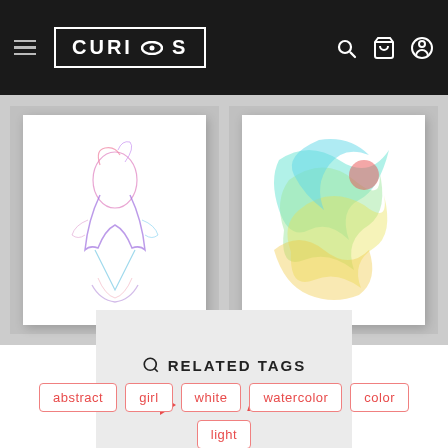CURIOOS
[Figure (illustration): Artwork card 1: colorful abstract figure of a girl, watercolor style with pink and blue hues]
[Figure (illustration): Artwork card 2: colorful abstract watercolor swirls in teal, green, and yellow]
[Figure (other): VIEW ALL button card with salmon/coral colored play arrow and text]
RELATED TAGS
abstract
girl
white
watercolor
color
light
kiss
sensual